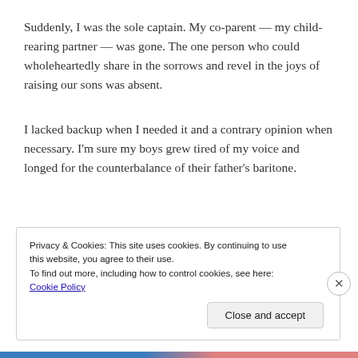Suddenly, I was the sole captain. My co-parent — my child-rearing partner — was gone. The one person who could wholeheartedly share in the sorrows and revel in the joys of raising our sons was absent.
I lacked backup when I needed it and a contrary opinion when necessary. I'm sure my boys grew tired of my voice and longed for the counterbalance of their father's baritone.
Privacy & Cookies: This site uses cookies. By continuing to use this website, you agree to their use.
To find out more, including how to control cookies, see here: Cookie Policy
Close and accept